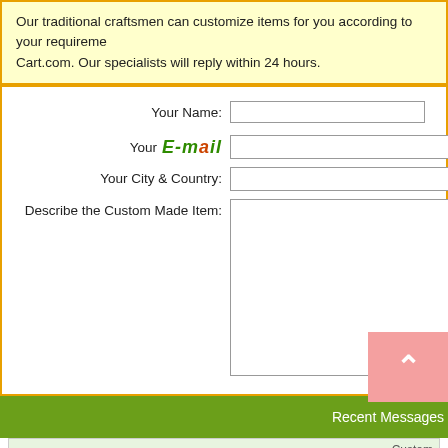Our traditional craftsmen can customize items for you according to your requirements at Cart.com. Our specialists will reply within 24 hours.
[Figure (screenshot): Web form with fields: Your Name, Your E-mail, Your City & Country, Describe the Custom Made Item (textarea). E-mail label styled in green bold italic with orange @ symbol.]
[Figure (infographic): Pink scroll-to-top button with white up arrow chevron.]
Recent Messages
Custom
The elections as soon as possible the new 2015 pro-am, daily female m